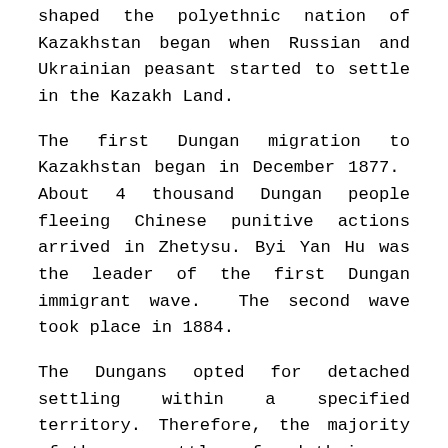shaped the polyethnic nation of Kazakhstan began when Russian and Ukrainian peasant started to settle in the Kazakh Land.
The first Dungan migration to Kazakhstan began in December 1877.  About 4 thousand Dungan people fleeing Chinese punitive actions arrived in Zhetysu. Byi Yan Hu was the leader of the first Dungan immigrant wave.  The second wave took place in 1884.
The Dungans opted for detached settling within a specified territory. Therefore, the majority of the new settlers found their new home in Verniy and Zharkent, Zhetysu. The reason why the two nationalities have maintained close contacts must be their similar traditions and shared nomadic past. If we compare the Kazakh culture, customs, and even superstition with those of the Dungans, we will find a number of similarities. In this respect, it is reasonable to compare Dungan